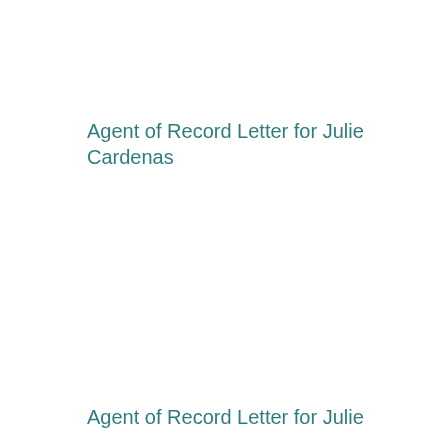Agent of Record Letter for Julie Cardenas
Agent of Record Letter for Julie